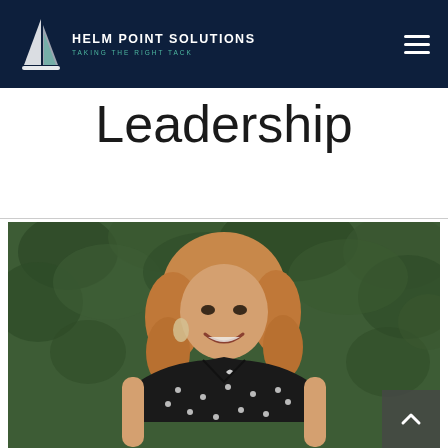HELM POINT SOLUTIONS — TAKING THE RIGHT TACK
Leadership
[Figure (photo): Professional headshot of a smiling woman with curly blonde hair, wearing a black sleeveless polka-dot top with a small ribbon pin, standing in front of a green leafy background.]